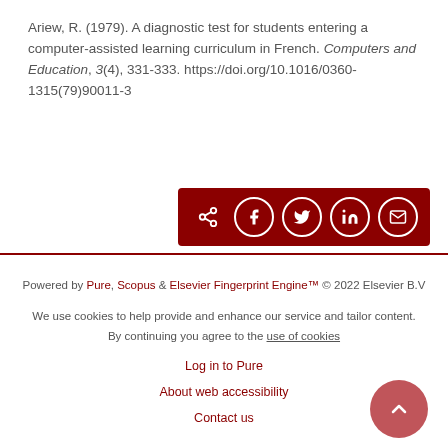Ariew, R. (1979). A diagnostic test for students entering a computer-assisted learning curriculum in French. Computers and Education, 3(4), 331-333. https://doi.org/10.1016/0360-1315(79)90011-3
[Figure (other): Dark red share bar with social sharing icons: share/arrow icon, Facebook, Twitter, LinkedIn, Email]
Powered by Pure, Scopus & Elsevier Fingerprint Engine™ © 2022 Elsevier B.V
We use cookies to help provide and enhance our service and tailor content. By continuing you agree to the use of cookies
Log in to Pure
About web accessibility
Contact us